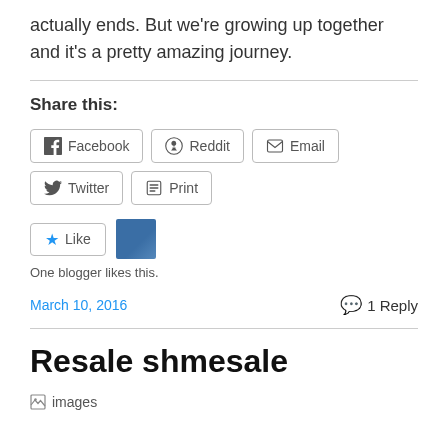actually ends. But we're growing up together and it's a pretty amazing journey.
Share this:
Facebook Reddit Email Twitter Print
Like · One blogger likes this.
March 10, 2016 · 1 Reply
Resale shmesale
[Figure (photo): Broken image placeholder labeled 'images']
A line of text beginning below the image (partially visible)